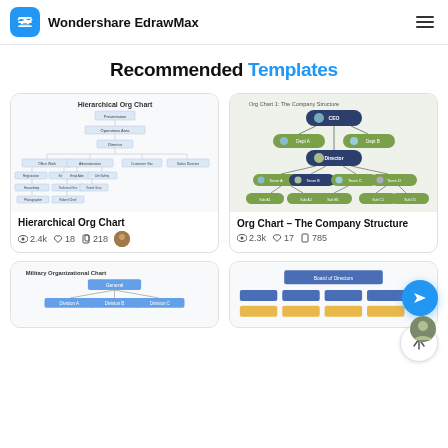Wondershare EdrawMax
Recommended Templates
[Figure (organizational-chart): Hierarchical Org Chart diagram thumbnail showing multi-level org chart structure]
Hierarchical Org Chart
2.4k views, 18 likes, 218 copies
[Figure (organizational-chart): Org Chart - The Company Structure diagram thumbnail showing green and dark blue rounded nodes]
Org Chart - The Company Structure
2.3k views, 17 likes, 785 copies
[Figure (organizational-chart): Military Organizational Chart thumbnail (partially visible at bottom)]
[Figure (organizational-chart): Stacked/grouped bar org chart thumbnail (partially visible at bottom)]